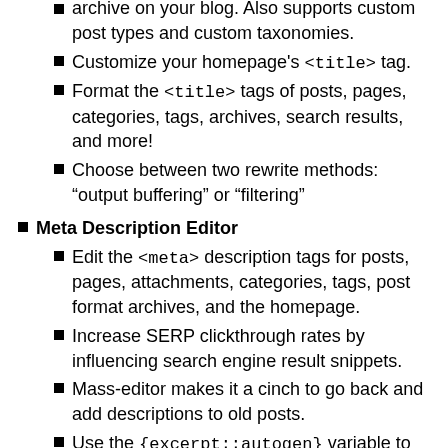archive on your blog. Also supports custom post types and custom taxonomies.
Customize your homepage's <title> tag.
Format the <title> tags of posts, pages, categories, tags, archives, search results, and more!
Choose between two rewrite methods: "output buffering" or "filtering"
Meta Description Editor
Edit the <meta> description tags for posts, pages, attachments, categories, tags, post format archives, and the homepage.
Increase SERP clickthrough rates by influencing search engine result snippets.
Mass-editor makes it a cinch to go back and add descriptions to old posts.
Use the {excerpt::autogen} variable to auto-generate meta descriptions if desired.
Deeplink Juggernaut